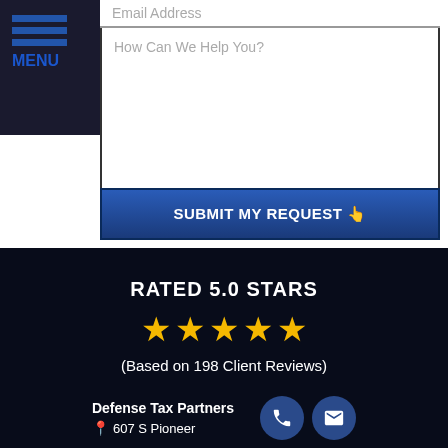Email Address
How Can We Help You?
SUBMIT MY REQUEST
RATED 5.0 STARS
(Based on 198 Client Reviews)
Defense Tax Partners
607 S Pioneer